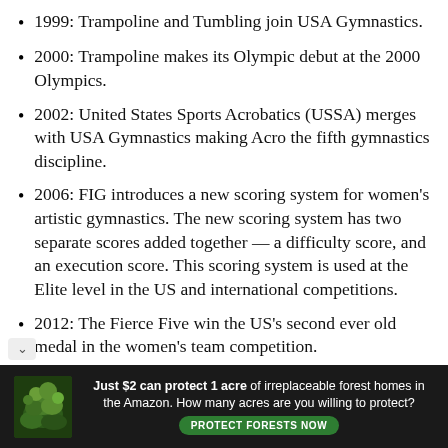1999: Trampoline and Tumbling join USA Gymnastics.
2000: Trampoline makes its Olympic debut at the 2000 Olympics.
2002: United States Sports Acrobatics (USSA) merges with USA Gymnastics making Acro the fifth gymnastics discipline.
2006: FIG introduces a new scoring system for women's artistic gymnastics. The new scoring system has two separate scores added together — a difficulty score, and an execution score. This scoring system is used at the Elite level in the US and international competitions.
2012: The Fierce Five win the US's second ever old medal in the women's team competition.
[Figure (infographic): Advertisement banner: 'Just $2 can protect 1 acre of irreplaceable forest homes in the Amazon. How many acres are you willing to protect?' with a green 'PROTECT FORESTS NOW' button and a forest background image.]